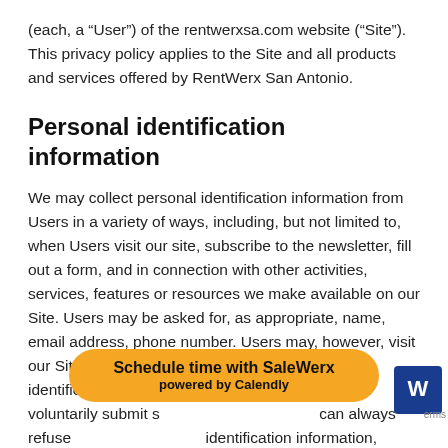(each, a “User”) of the rentwerxsa.com website (“Site”). This privacy policy applies to the Site and all products and services offered by RentWerx San Antonio.
Personal identification information
We may collect personal identification information from Users in a variety of ways, including, but not limited to, when Users visit our site, subscribe to the newsletter, fill out a form, and in connection with other activities, services, features or resources we make available on our Site. Users may be asked for, as appropriate, name, email address, phone number. Users may, however, visit our Site anonymously. We will collect personal identification information from Users only if they voluntarily submit s… can always refuse … identification information, except that it may